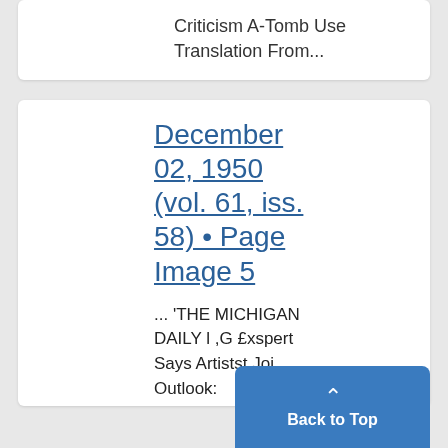Criticism A-Tomb Use Translation From...
December 02, 1950 (vol. 61, iss. 58) • Page Image 5
... 'THE MICHIGAN DAILY l ,G £xspert Says Artistst Joi Outlook: Eneouriagin g y + r Tech nical ~M eDemanded